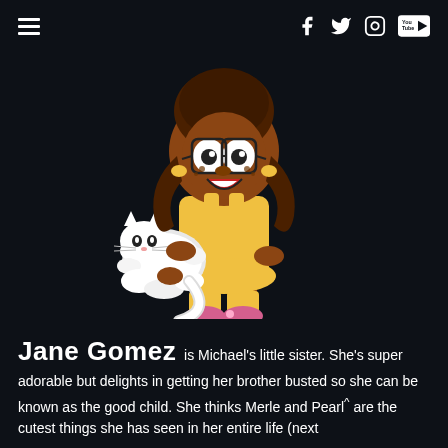≡  f  🐦  📷  You Tube
[Figure (illustration): Cartoon illustration of Jane Gomez, a young girl with dark brown pigtails, yellow hair ties, glasses, freckles, a yellow dress and yellow socks with pink shoes, holding a fluffy white cat/creature.]
Jane Gomez is Michael's little sister. She's super adorable but delights in getting her brother busted so she can be known as the good child. She thinks Merle and Pearl are the cutest things she has seen in her entire life (next